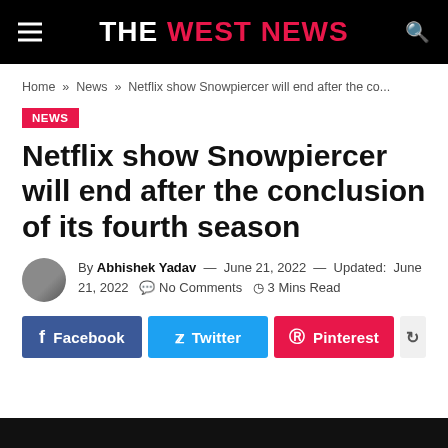THE WEST NEWS
Home » News » Netflix show Snowpiercer will end after the co...
NEWS
Netflix show Snowpiercer will end after the conclusion of its fourth season
By Abhishek Yadav — June 21, 2022 — Updated: June 21, 2022   No Comments   3 Mins Read
Facebook  Twitter  Pinterest